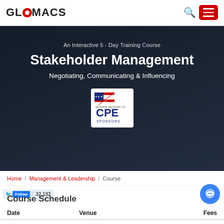GLOMACS
[Figure (photo): Background photo of business professionals in a meeting discussing documents, with dark overlay. CPE Sponsors badge centered on image.]
An Interactive 5 - Day Training Course
Stakeholder Management
Negotiating, Communicating & Influencing
Home / Management & Leadership / Course
Follow  32,192
Course Schedule
| Date | Venue | Fees |
| --- | --- | --- |
| 19 - 23 Sep 2022 | Amsterdam - The Netherlands | $5,950 |